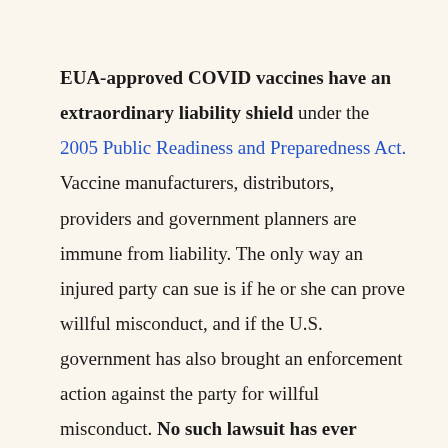EUA-approved COVID vaccines have an extraordinary liability shield under the 2005 Public Readiness and Preparedness Act. Vaccine manufacturers, distributors, providers and government planners are immune from liability. The only way an injured party can sue is if he or she can prove willful misconduct, and if the U.S. government has also brought an enforcement action against the party for willful misconduct. No such lawsuit has ever succeeded.